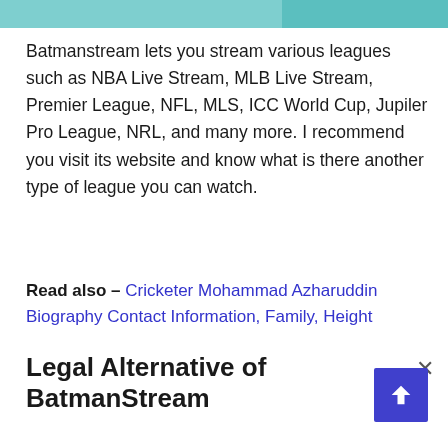[Figure (other): Teal/cyan colored banner image at the top of the page, split into two sections]
Batmanstream lets you stream various leagues such as NBA Live Stream, MLB Live Stream, Premier League, NFL, MLS, ICC World Cup, Jupiler Pro League, NRL, and many more. I recommend you visit its website and know what is there another type of league you can watch.
Read also – Cricketer Mohammad Azharuddin Biography Contact Information, Family, Height
Legal Alternative of BatmanStream